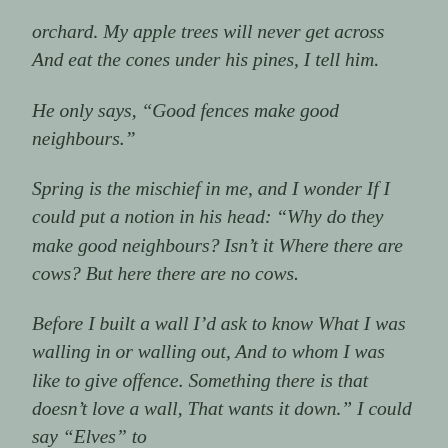orchard. My apple trees will never get across And eat the cones under his pines, I tell him.
He only says, “Good fences make good neighbours.”
Spring is the mischief in me, and I wonder If I could put a notion in his head: “Why do they make good neighbours? Isn’t it Where there are cows? But here there are no cows.
Before I built a wall I’d ask to know What I was walling in or walling out, And to whom I was like to give offence. Something there is that doesn’t love a wall, That wants it down.” I could say “Elves” to